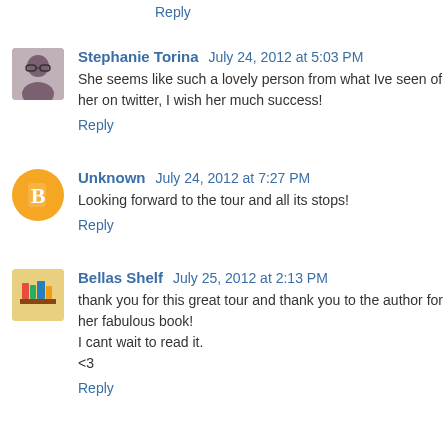Reply
Stephanie Torina July 24, 2012 at 5:03 PM
She seems like such a lovely person from what Ive seen of her on twitter, I wish her much success!
Reply
Unknown July 24, 2012 at 7:27 PM
Looking forward to the tour and all its stops!
Reply
Bellas Shelf July 25, 2012 at 2:13 PM
thank you for this great tour and thank you to the author for her fabulous book!
I cant wait to read it.
<3
Reply